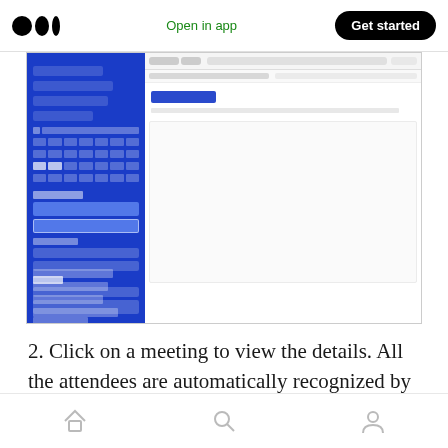Open in app | Get started
[Figure (screenshot): Screenshot of a Hugo meeting notes application showing a blue sidebar with navigation items and calendar entries, and a main pane with a meeting note editor showing 'New note' with placeholder text.]
2. Click on a meeting to view the details. All the attendees are automatically recognized by Hugo, so the notes will be categorized.
Home | Search | Profile